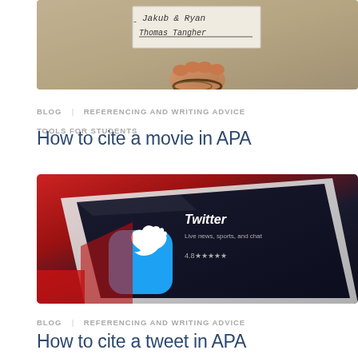[Figure (photo): A hand holding a piece of paper with handwritten names 'Jakub & Ryan' and 'Thomas Tangher' written on it, against a neutral background.]
BLOG   REFERENCING AND WRITING ADVICE
TOOLS FOR STUDENTS
How to cite a movie in APA
[Figure (photo): Close-up photo of a smartphone or tablet screen showing the Twitter app icon (blue bird on cyan background) in an app store listing, with the text 'Twitter - Live news, sports, and chat' and a 4.8 star rating visible.]
BLOG   REFERENCING AND WRITING ADVICE
How to cite a tweet in APA